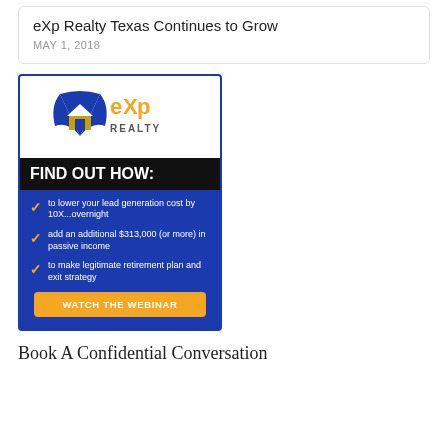eXp Realty Texas Continues to Grow
MAY 1, 2018
[Figure (advertisement): eXp Realty advertisement banner with logo at top, 'FIND OUT HOW:' heading, three checklist items about lead generation cost, passive income, and retirement plan, and a 'WATCH THE WEBINAR' button]
Book A Confidential Conversation